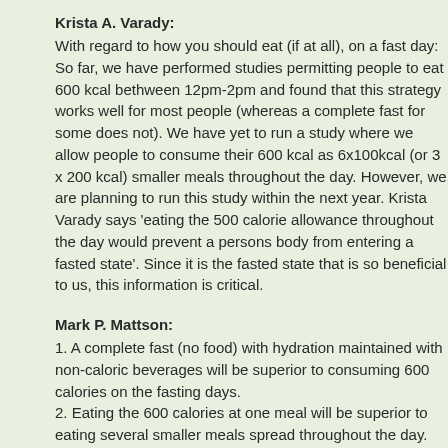Krista A. Varady:
With regard to how you should eat (if at all), on a fast day: So far, we have performed studies permitting people to eat 600 kcal bethween 12pm-2pm and found that this strategy works well for most people (whereas a complete fast for some does not). We have yet to run a study where we allow people to consume their 600 kcal as 6x100kcal (or 3 x 200 kcal) smaller meals throughout the day. However, we are planning to run this study within the next year. Krista Varady says 'eating the 500 calorie allowance throughout the day would prevent a persons body from entering a fasted state'. Since it is the fasted state that is so beneficial to us, this information is critical.
Mark P. Mattson:
1. A complete fast (no food) with hydration maintained with non-caloric beverages will be superior to consuming 600 calories on the fasting days.
2. Eating the 600 calories at one meal will be superior to eating several smaller meals spread throughout the day. By eating only one meal, the body goes essentially 24 hours with no food. This results in adaptive cellular stress responses which we believe is particularly good for the brain.
3. In the case of the 5:2 diet, we do not know whether better health benefits are realized with two consecutive days of fasting versus any two days of fasting during the week.
What I found most interesting is..., (all of which reinforce my comments in this thread)...